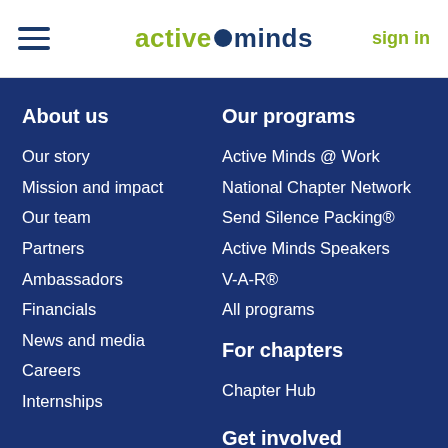active minds | sign in
About us
Our story
Mission and impact
Our team
Partners
Ambassadors
Financials
News and media
Careers
Internships
Our programs
Active Minds @ Work
National Chapter Network
Send Silence Packing®
Active Minds Speakers
V-A-R®
All programs
For chapters
Chapter Hub
About mental
Get involved